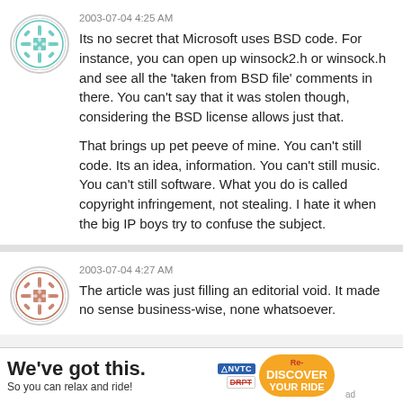2003-07-04 4:25 AM
Its no secret that Microsoft uses BSD code. For instance, you can open up winsock2.h or winsock.h and see all the 'taken from BSD file' comments in there. You can't say that it was stolen though, considering the BSD license allows just that.

That brings up pet peeve of mine. You can't still code. Its an idea, information. You can't still music. You can't still software. What you do is called copyright infringement, not stealing. I hate it when the big IP boys try to confuse the subject.
2003-07-04 4:27 AM
The article was just filling an editorial void. It made no sense business-wise, none whatsoever.
[Figure (other): Advertisement banner: We've got this. So you can relax and ride! NVTC DRPT Re-DISCOVER YOUR RIDE]